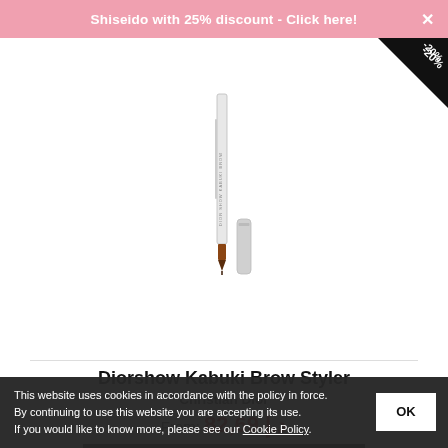Shiseido with 25% discount - Click here!
[Figure (photo): Diorshow Kabuki Brow Styler product pencil with cap, on white background, with -20% discount badge in top right corner]
Diorshow Kabuki Brow Styler
Christian Dior
From: 82,69 د.إ
See Details
This website uses cookies in accordance with the policy in force. By continuing to use this website you are accepting its use. If you would like to know more, please see our Cookie Policy.